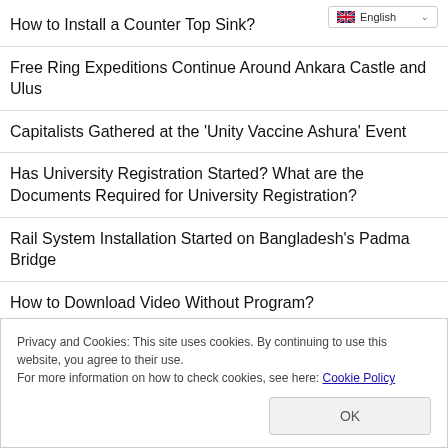How to Install a Counter Top Sink?
Free Ring Expeditions Continue Around Ankara Castle and Ulus
Capitalists Gathered at the 'Unity Vaccine Ashura' Event
Has University Registration Started? What are the Documents Required for University Registration?
Rail System Installation Started on Bangladesh's Padma Bridge
How to Download Video Without Program?
What is a deputy, what does he do, how to be? MP Salaries 2022
Transportation Announcement from Konya Metropolitan!
Privacy and Cookies: This site uses cookies. By continuing to use this website, you agree to their use.
For more information on how to check cookies, see here: Cookie Policy